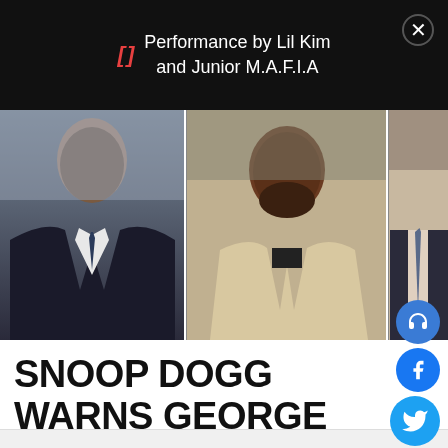Performance by Lil Kim and Junior M.A.F.I.A
[Figure (photo): Three men in a photo strip: left person in dark suit with navy tie, center person in cream shawl-collar sweater, right person in dark suit with patterned tie]
SNOOP DOGG WARNS GEORGE ZIMMERMAN OVER JAY-Z DEATH THREAT